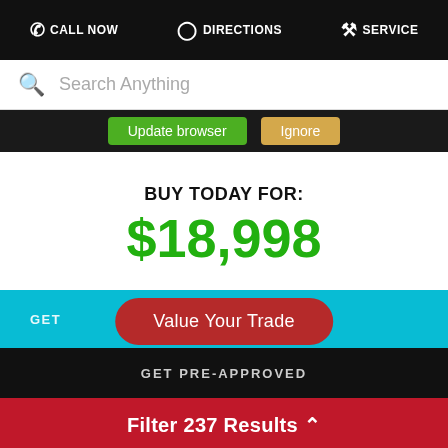CALL NOW  DIRECTIONS  SERVICE
Search Anything
Update browser  Ignore
BUY TODAY FOR:
$18,998
GET
Value Your Trade
GET PRE-APPROVED
Filter 237 Results ^